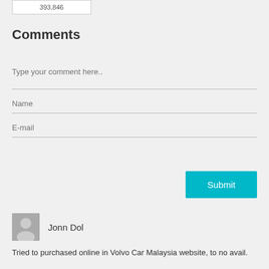393,846
Comments
Type your comment here..
Name
E-mail
Submit
Jonn Dol
Tried to purchased online in Volvo Car Malaysia website, to no avail.